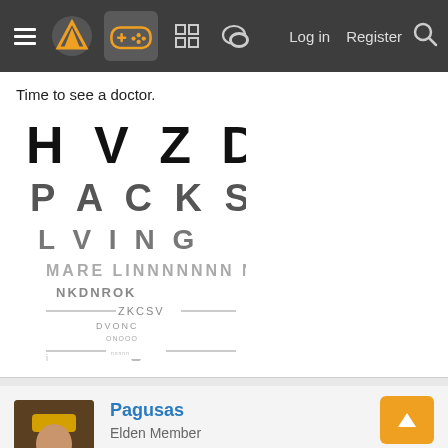Navigation bar with hamburger menu, logo, gamepad icon, forum icons, Log in, Register, Search
Time to see a doctor.
[Figure (photo): Eye chart (Snellen chart) showing rows of letters H V Z D S, P A C K S, L V I N G, and smaller rows below, progressively decreasing in size]
Pagusas
Elden Member
Friday at 6:29 PM
Some people also prefer to be hit and called names OR its all